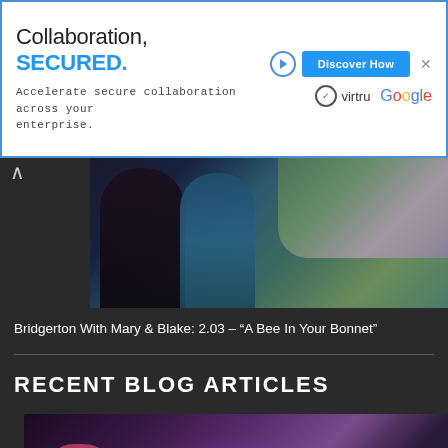[Figure (screenshot): Advertisement banner: 'Collaboration, SECURED.' with tagline 'Accelerate secure collaboration across your enterprise.' Virtru and Google logos, 'Discover How' button, play and close icons.]
[Figure (photo): Two figures seen from behind, one in dark clothing and one in teal/blue, standing close together in a garden setting with flowers and greenery.]
Bridgerton With Mary & Blake: 2.03 – "A Bee In Your Bonnet"
RECENT BLOG ARTICLES
[Figure (photo): Dark purple-toned scene with two figures, likely from a TV show, with dramatic lighting. Part of 'Recent Blog Articles' section.]